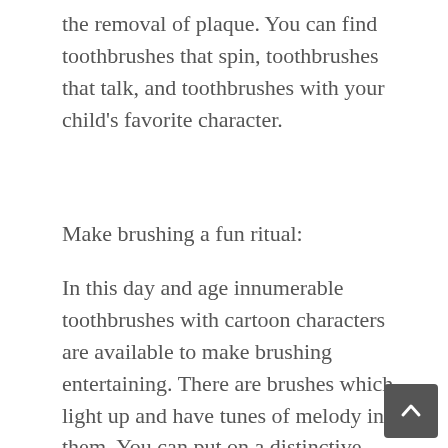the removal of plaque. You can find toothbrushes that spin, toothbrushes that talk, and toothbrushes with your child's favorite character.
Make brushing a fun ritual:
In this day and age innumerable toothbrushes with cartoon characters are available to make brushing entertaining. There are brushes which light up and have tunes of melody in them. You can put on a distinctive brushing song to boost them to brush. One way to get around this hurdle to